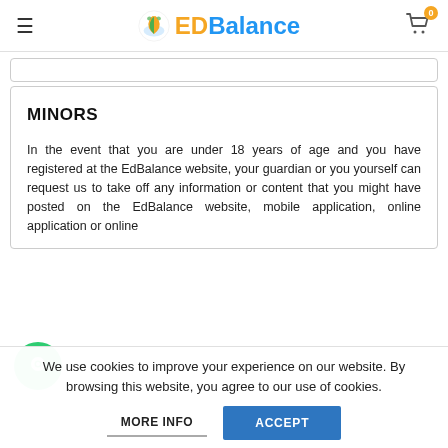EDBalance
MINORS
In the event that you are under 18 years of age and you have registered at the EdBalance website, your guardian or you yourself can request us to take off any information or content that you might have posted on the EdBalance website, mobile application, online application or online
We use cookies to improve your experience on our website. By browsing this website, you agree to our use of cookies.